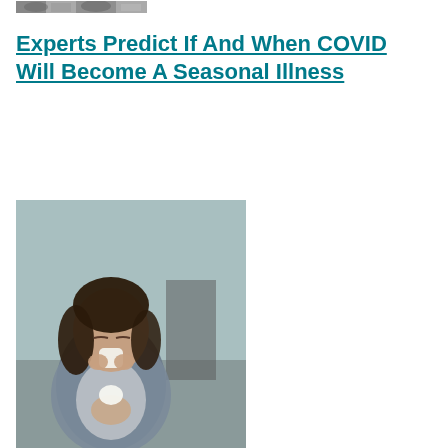[Figure (photo): Microscope image of coronavirus particles, grayscale electron microscopy view]
Experts Predict If And When COVID Will Become A Seasonal Illness
[Figure (photo): Woman with dark hair sitting on a couch, holding a tissue to her nose, appearing sick with a cold or respiratory illness, wearing a gray shawl over a white top]